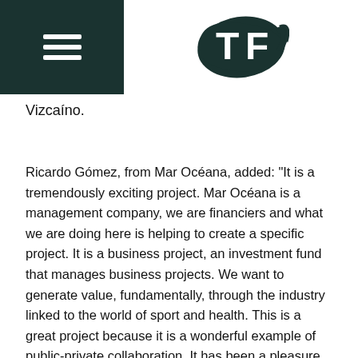TF
Vizcaíno.
Ricardo Gómez, from Mar Océana, added: "It is a tremendously exciting project. Mar Océana is a management company, we are financiers and what we are doing here is helping to create a specific project. It is a business project, an investment fund that manages business projects. We want to generate value, fundamentally, through the industry linked to the world of sport and health. This is a great project because it is a wonderful example of public-private collaboration. It has been a pleasure to have a relationship with the Puerto Real City Council."
Elena Amaya, Mayor of Puerto Real, said: "I can explain this project with the example of the reservoirs in our province in recent days. They were dry, desolate, not knowing what was going to